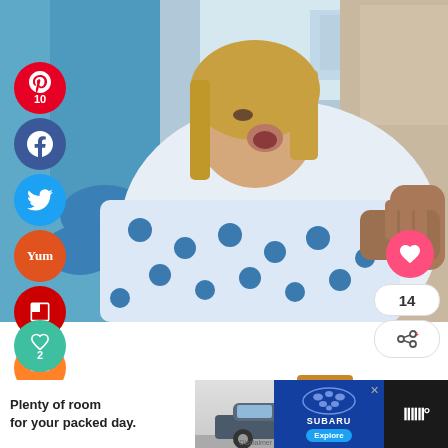[Figure (photo): Woman in hospital gown appearing to be in labor, breathing through contraction, with medical personnel in blue scrubs and a man holding her hand beside her]
[Figure (infographic): Social media sharing buttons: Pinterest (10), Facebook, Twitter, Yummly, Flipboard, Mix on left sidebar; heart/like (2) below sidebar; right side heart button, share count (14), share button]
10
SHARES
WHAT'S NEXT → Raising Cane's...
[Figure (photo): Subaru advertisement banner: 'Plenty of room for your packed day.' with Subaru SUV image and Explore button]